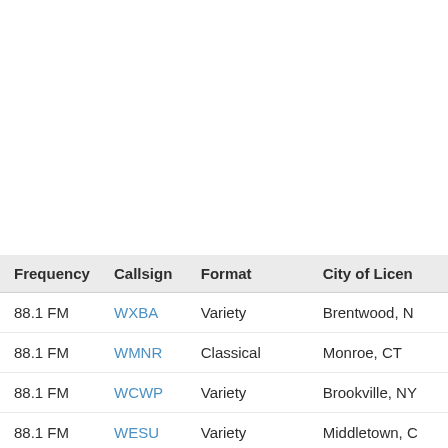| Frequency | Callsign | Format | City of License |
| --- | --- | --- | --- |
| 88.1 FM | WXBA | Variety | Brentwood, N |
| 88.1 FM | WMNR | Classical | Monroe, CT |
| 88.1 FM | WCWP | Variety | Brookville, NY |
| 88.1 FM | WESU | Variety | Middletown, C |
| 88.3 FM | WLIW | Jazz | Southampton |
| 88.5 FM | WVOF | Variety | Fairfield, CT |